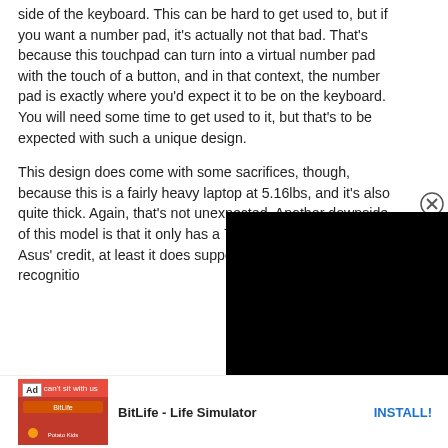side of the keyboard. This can be hard to get used to, but if you want a number pad, it's actually not that bad. That's because this touchpad can turn into a virtual number pad with the touch of a button, and in that context, the number pad is exactly where you'd expect it to be on the keyboard. You will need some time to get used to it, but that's to be expected with such a unique design.
This design does come with some sacrifices, though, because this is a fairly heavy laptop at 5.16lbs, and it's also quite thick. Again, that's not unexpected. Another downside of this model is that it only has a 720p HD webcam, but to Asus' credit, at least it does support Windows Hello facial recognitio[n...]
[Figure (screenshot): Black video player overlay partially covering the second paragraph text, with a circular close (X) button in the top-right corner of the overlay.]
[Figure (screenshot): Advertisement banner at the bottom of the page. Shows an 'Ad' label with app icon image for BitLife - Life Simulator game with an INSTALL! call-to-action button in blue.]